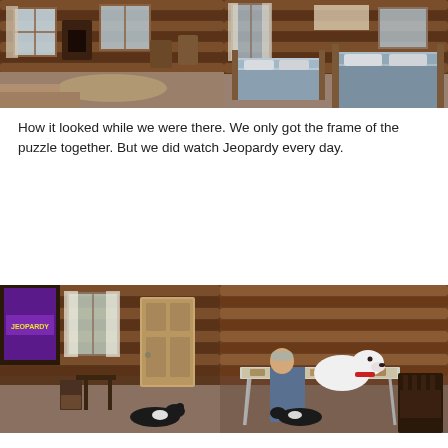[Figure (photo): Interior of a log cabin living area with wood-paneled walls, windows with curtains, chairs, and a rug on the floor.]
[Figure (photo): Interior of a log cabin bedroom with two beds covered in gray/blue bedding, wooden walls, and windows with curtains.]
How it looked while we were there. We only got the frame of the puzzle together. But we did watch Jeopardy every day.
[Figure (photo): Interior of a log cabin with a TV showing Jeopardy, a door, windows, a small table, and a cat on the floor.]
[Figure (photo): Interior of a log cabin with a man sitting at a folding table with a puzzle, a white dog with a red collar nearby, and a cat on the floor.]